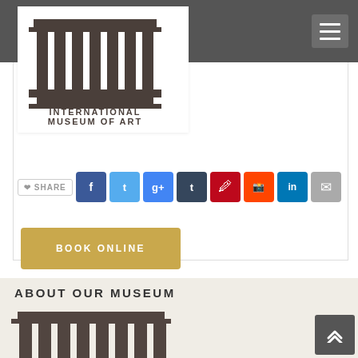Navigation bar with hamburger menu
[Figure (logo): International Museum of Art logo — columned building icon above the text INTERNATIONAL MUSEUM OF ART]
[Figure (infographic): Social share row with buttons: SHARE, Facebook, Twitter, Google+, Tumblr, Pinterest, Reddit, LinkedIn, Email]
BOOK ONLINE
ABOUT OUR MUSEUM
[Figure (logo): Large International Museum of Art columned building logo, dark brown, partially cropped at bottom]
[Figure (other): Scroll-to-top arrow button, dark grey, bottom right]